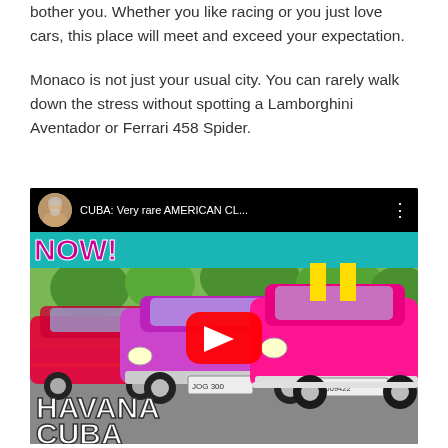bother you. Whether you like racing or you just love cars, this place will meet and exceed your expectation.
Monaco is not just your usual city. You can rarely walk down the stress without spotting a Lamborghini Aventador or Ferrari 458 Spider.
[Figure (screenshot): YouTube video thumbnail showing pink/magenta classic American cars in Havana, Cuba. Title reads 'CUBA: Very rare AMERICAN CL...' with a NOW! banner and play button. Text overlays say 'HAVANA' and 'CUBA' at the bottom.]